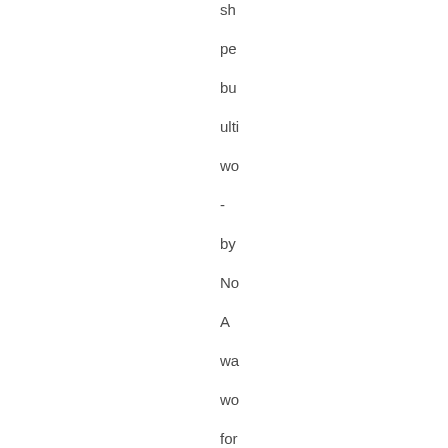sh
pe
bu
ulti
wo
-
by
No
A
wa
wo
for
us,
by
No
No
did
no